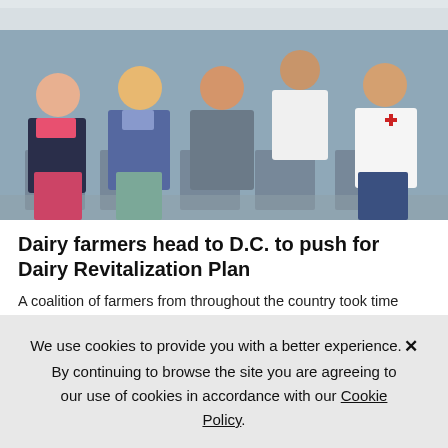[Figure (photo): Group photo of dairy farmers seated in chairs, posed for a group portrait indoors. Multiple people seated in a row, dressed in casual clothes.]
Dairy farmers head to D.C. to push for Dairy Revitalization Plan
A coalition of farmers from throughout the country took time away from the farm and field recently to gather for a Dairy Together Fly-In to Washington, D.C.
August 11, 2022
We use cookies to provide you with a better experience. ✕ By continuing to browse the site you are agreeing to our use of cookies in accordance with our Cookie Policy.